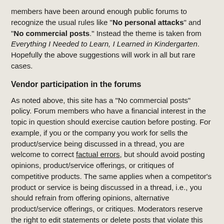members have been around enough public forums to recognize the usual rules like "No personal attacks" and "No commercial posts." Instead the theme is taken from Everything I Needed to Learn, I Learned in Kindergarten. Hopefully the above suggestions will work in all but rare cases.
Vendor participation in the forums
As noted above, this site has a "No commercial posts" policy. Forum members who have a financial interest in the topic in question should exercise caution before posting. For example, if you or the company you work for sells the product/service being discussed in a thread, you are welcome to correct factual errors, but should avoid posting opinions, product/service offerings, or critiques of competitive products. The same applies when a competitor's product or service is being discussed in a thread, i.e., you should refrain from offering opinions, alternative product/service offerings, or critiques. Moderators reserve the right to edit statements or delete posts that violate this policy.
Public complaints about customer service
A major goal of HB is keeping the discussion focused on espresso, the barista, and coffee. You know, topics that are consistent with the site motto "Your guide to exceptional espresso." Recently there have been public complaints about customer service issues in the forums. The